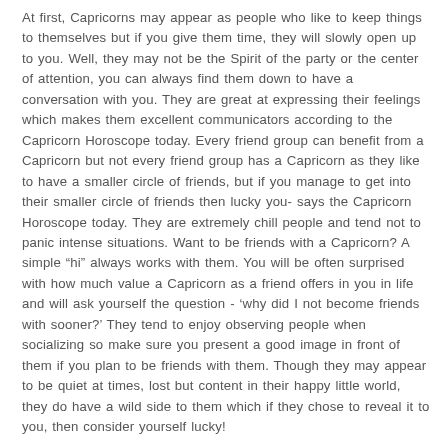At first, Capricorns may appear as people who like to keep things to themselves but if you give them time, they will slowly open up to you. Well, they may not be the Spirit of the party or the center of attention, you can always find them down to have a conversation with you. They are great at expressing their feelings which makes them excellent communicators according to the Capricorn Horoscope today. Every friend group can benefit from a Capricorn but not every friend group has a Capricorn as they like to have a smaller circle of friends, but if you manage to get into their smaller circle of friends then lucky you- says the Capricorn Horoscope today. They are extremely chill people and tend not to panic intense situations. Want to be friends with a Capricorn? A simple “hi” always works with them. You will be often surprised with how much value a Capricorn as a friend offers in you in life and will ask yourself the question - ‘why did I not become friends with sooner?’ They tend to enjoy observing people when socializing so make sure you present a good image in front of them if you plan to be friends with them. Though they may appear to be quiet at times, lost but content in their happy little world, they do have a wild side to them which if they chose to reveal it to you, then consider yourself lucky!